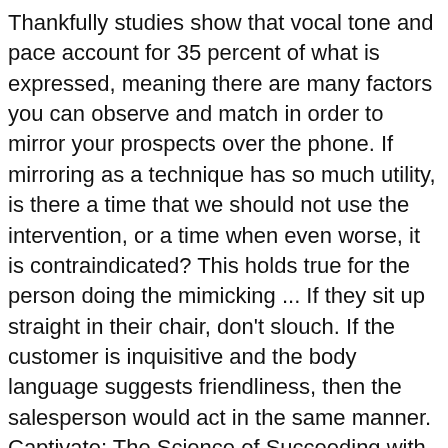Thankfully studies show that vocal tone and pace account for 35 percent of what is expressed, meaning there are many factors you can observe and match in order to mirror your prospects over the phone. If mirroring as a technique has so much utility, is there a time that we should not use the intervention, or a time when even worse, it is contraindicated? This holds true for the person doing the mimicking ... If they sit up straight in their chair, don't slouch. If the customer is inquisitive and the body language suggests friendliness, then the salesperson would act in the same manner. Captivate: The Science of Succeeding with People, 7 Body Language Secrets from the Internet's Greatest Experts, 4 Steps to Identify and Avoid Pickpockets. Perhaps  shared interests, mutual activities, similar feelings do play a role, but social psychology says a more primal subconscious process is at play. He is passionate about solving everyday problems and increasing performance through innovative technology. You can easily access all of your games, photos, videos and other application on a big screen